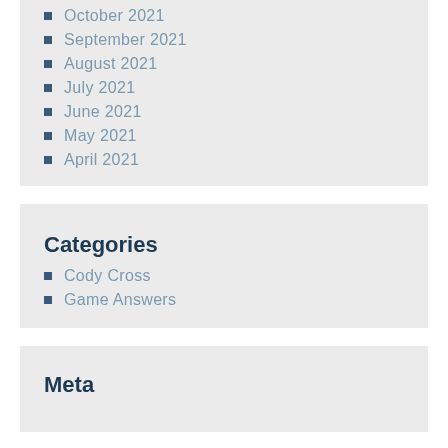October 2021
September 2021
August 2021
July 2021
June 2021
May 2021
April 2021
Categories
Cody Cross
Game Answers
Meta